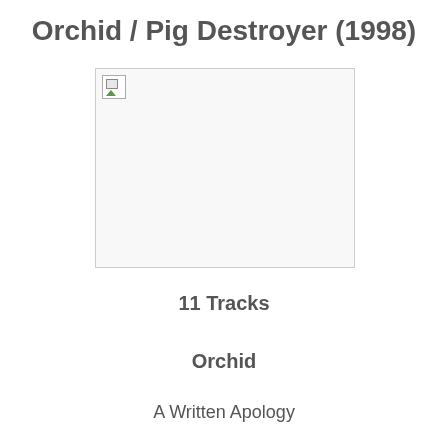Orchid / Pig Destroyer (1998)
[Figure (photo): Album cover image placeholder (broken image icon shown)]
11 Tracks
Orchid
A Written Apology